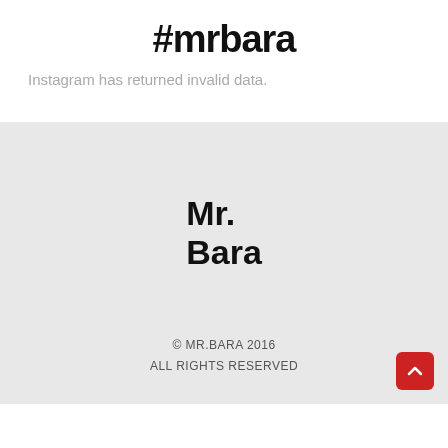#mrbara
Instagram has returned invalid data.
Mr.
Bara
© MR.BARA 2016
ALL RIGHTS RESERVED